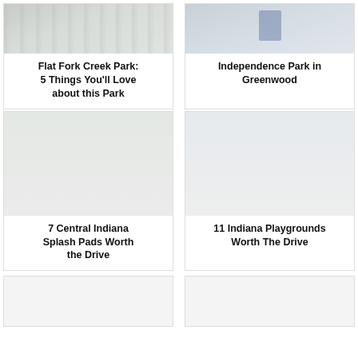[Figure (photo): Photo of Flat Fork Creek Park]
Flat Fork Creek Park: 5 Things You'll Love about this Park
[Figure (photo): Photo of Independence Park in Greenwood]
Independence Park in Greenwood
[Figure (photo): Photo of Central Indiana Splash Pad]
7 Central Indiana Splash Pads Worth the Drive
[Figure (photo): Photo of Indiana Playground]
11 Indiana Playgrounds Worth The Drive
[Figure (photo): Bottom left card placeholder image]
[Figure (photo): Bottom right card placeholder image]